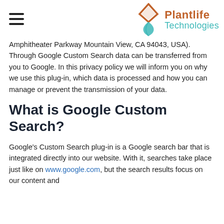Plantlife Technologies
Amphitheater Parkway Mountain View, CA 94043, USA). Through Google Custom Search data can be transferred from you to Google. In this privacy policy we will inform you on why we use this plug-in, which data is processed and how you can manage or prevent the transmission of your data.
What is Google Custom Search?
Google's Custom Search plug-in is a Google search bar that is integrated directly into our website. With it, searches take place just like on www.google.com, but the search results focus on our content and